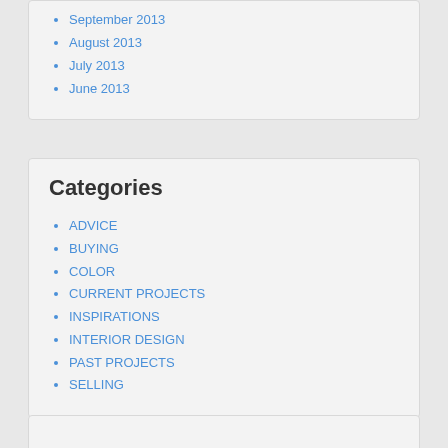September 2013
August 2013
July 2013
June 2013
Categories
ADVICE
BUYING
COLOR
CURRENT PROJECTS
INSPIRATIONS
INTERIOR DESIGN
PAST PROJECTS
SELLING